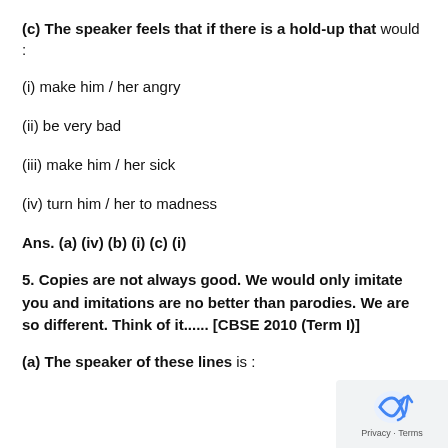(c) The speaker feels that if there is a hold-up that would :
(i) make him / her angry
(ii) be very bad
(iii) make him / her sick
(iv) turn him / her to madness
Ans. (a) (iv) (b) (i) (c) (i)
5. Copies are not always good. We would only imitate you and imitations are no better than parodies. We are so different. Think of it...... [CBSE 2010 (Term I)]
(a) The speaker of these lines is :